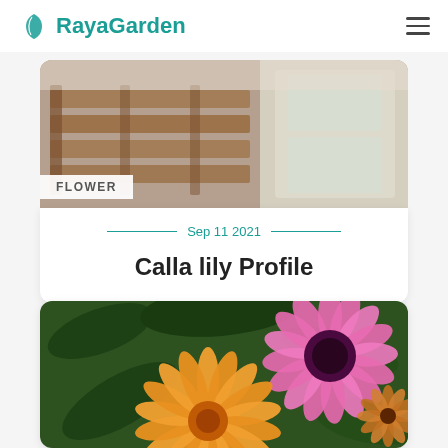RayaGarden
[Figure (photo): Photo of wooden crate or planter box, rustic style]
FLOWER
Sep 11 2021
Calla lily Profile
[Figure (photo): Close-up photo of orange and pink daisy/osteospermum flowers with green foliage background]